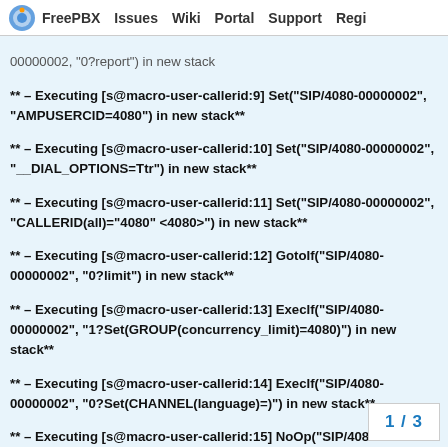FreePBX  Issues  Wiki  Portal  Support  Regi
00000002, "0?report") in new stack
** – Executing [s@macro-user-callerid:9] Set("SIP/4080-00000002", "AMPUSERCID=4080") in new stack**
** – Executing [s@macro-user-callerid:10] Set("SIP/4080-00000002", "__DIAL_OPTIONS=Ttr") in new stack**
** – Executing [s@macro-user-callerid:11] Set("SIP/4080-00000002", "CALLERID(all)="4080" <4080>") in new stack**
** – Executing [s@macro-user-callerid:12] GotoIf("SIP/4080-00000002", "0?limit") in new stack**
** – Executing [s@macro-user-callerid:13] ExecIf("SIP/4080-00000002", "1?Set(GROUP(concurrency_limit)=4080)") in new stack**
** – Executing [s@macro-user-callerid:14] ExecIf("SIP/4080-00000002", "0?Set(CHANNEL(language)=)") in new stack**
** – Executing [s@macro-user-callerid:15] NoOp("SIP/4080-00000002", "Macro Depth is 1") in new stack**
** – Executing [s@macro-user-callerid:16] GotoIf("SIP/4080-00000002", "1?report2:macroerror") in new stack**
** – Goto (macro-user-callerid,s,18)**
** – Executing [s@macro-user-callerid:18]